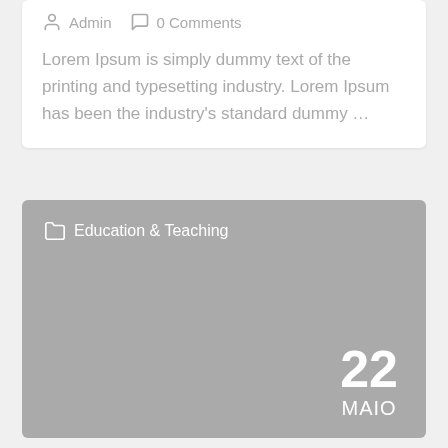Admin  0 Comments
Lorem Ipsum is simply dummy text of the printing and typesetting industry. Lorem Ipsum has been the industry's standard dummy …
[Figure (screenshot): Gray card with Education & Teaching category label, date 22 MAIO in bottom right corner]
Education & Teaching
22 MAIO